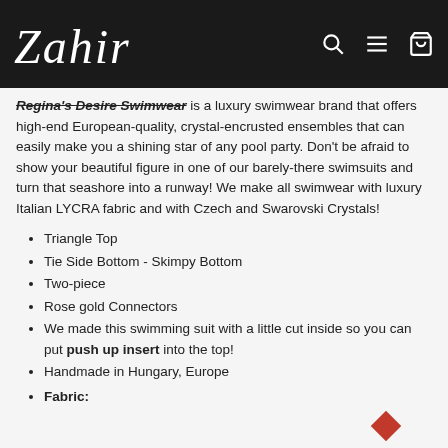Zahir [logo with search, menu, and bag icons]
Regina's Desire Swimwear is a luxury swimwear brand that offers high-end European-quality, crystal-encrusted ensembles that can easily make you a shining star of any pool party. Don't be afraid to show your beautiful figure in one of our barely-there swimsuits and turn that seashore into a runway! We make all swimwear with luxury Italian LYCRA fabric and with Czech and Swarovski Crystals!
Triangle Top
Tie Side Bottom - Skimpy Bottom
Two-piece
Rose gold Connectors
We made this swimming suit with a little cut inside so you can put push up insert into the top!
Handmade in Hungary, Europe
Fabric: